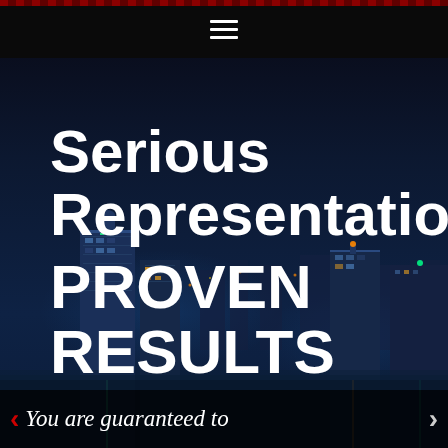[Figure (photo): Night cityscape background with dark navy sky and illuminated city buildings skyline]
≡
Serious Representation PROVEN RESULTS
You are guaranteed to